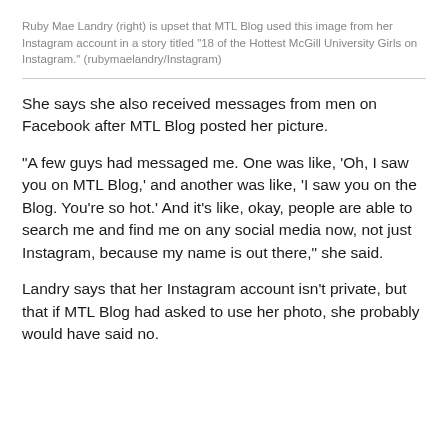Ruby Mae Landry (right) is upset that MTL Blog used this image from her Instagram account in a story titled "18 of the Hottest McGill University Girls on Instagram." (rubymaelandry/Instagram)
She says she also received messages from men on Facebook after MTL Blog posted her picture.
"A few guys had messaged me. One was like, 'Oh, I saw you on MTL Blog,' and another was like, 'I saw you on the Blog. You're so hot.' And it's like, okay, people are able to search me and find me on any social media now, not just Instagram, because my name is out there," she said.
Landry says that her Instagram account isn't private, but that if MTL Blog had asked to use her photo, she probably would have said no.